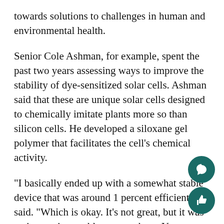towards solutions to challenges in human and environmental health.
Senior Cole Ashman, for example, spent the past two years assessing ways to improve the stability of dye-sensitized solar cells. Ashman said that these are unique solar cells designed to chemically imitate plants more so than silicon cells. He developed a siloxane gel polymer that facilitates the cell’s chemical activity.
“I basically ended up with a somewhat stable device that was around 1 percent efficient,” he said. “Which is okay. It’s not great, but it was an interesting problem to work on. You can easily see how discoveries [in the lab] are directly applicable to our world.”
Albert said that one of the lab’s major focuses is to create a thin plastic membrane with tiny nanopores that can perform oil-water separations. This product would have major implications in oil spill remediation